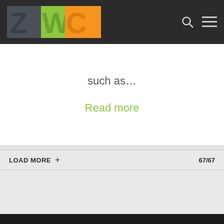[Figure (logo): ZWC logo with stylized letters Z, W, C in gray, green, and orange on dark background header]
such as…
Read more
LOAD MORE + 67/67